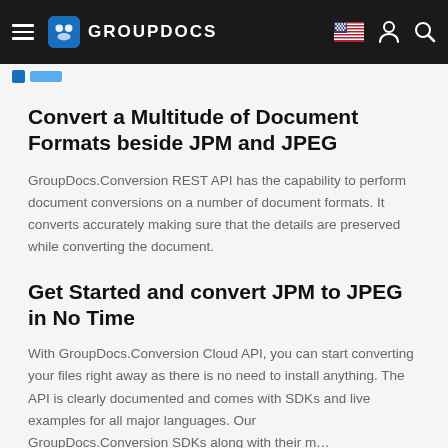GROUPDOCS
Convert a Multitude of Document Formats beside JPM and JPEG
GroupDocs.Conversion REST API has the capability to perform document conversions on a number of document formats. It converts accurately making sure that the details are preserved while converting the document.
Get Started and convert JPM to JPEG in No Time
With GroupDocs.Conversion Cloud API, you can start converting your files right away as there is no need to install anything. The API is clearly documented and comes with SDKs and live examples for all major languages. Our GroupDocs.Conversion SDKs along with their …